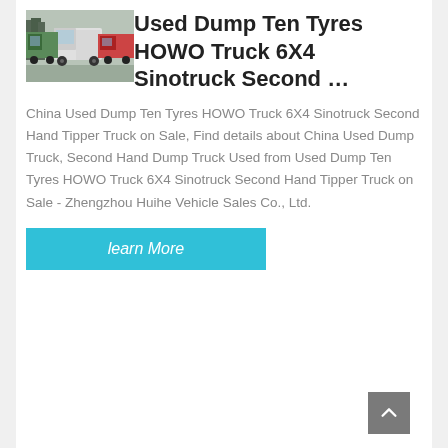[Figure (photo): Photo of used dump trucks (HOWO Sinotruck 6X4) parked outdoors, multiple trucks visible, white and green/red colors]
Used Dump Ten Tyres HOWO Truck 6X4 Sinotruck Second …
China Used Dump Ten Tyres HOWO Truck 6X4 Sinotruck Second Hand Tipper Truck on Sale, Find details about China Used Dump Truck, Second Hand Dump Truck Used from Used Dump Ten Tyres HOWO Truck 6X4 Sinotruck Second Hand Tipper Truck on Sale - Zhengzhou Huihe Vehicle Sales Co., Ltd.
learn More